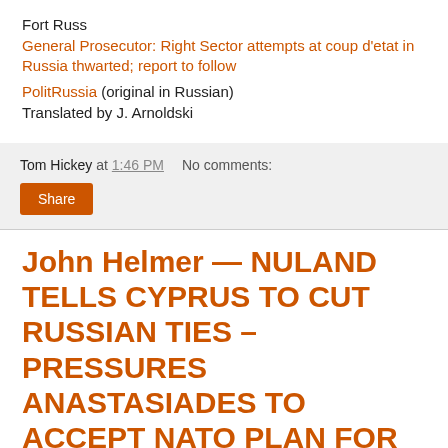Fort Russ
General Prosecutor: Right Sector attempts at coup d'etat in Russia thwarted; report to follow
PolitRussia (original in Russian)
Translated by J. Arnoldski
Tom Hickey at 1:46 PM   No comments:
Share
John Helmer — NULAND TELLS CYPRUS TO CUT RUSSIAN TIES – PRESSURES ANASTASIADES TO ACCEPT NATO PLAN FOR TURKISH TROOPS IN CYPRUS
The US is intensifying the pressure on Cyprus to accept a secret NATO plan to keep Turkish forces on the island.